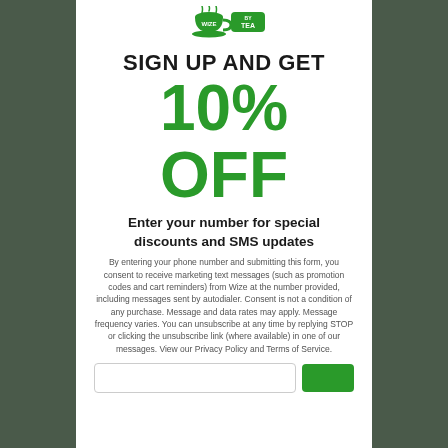[Figure (logo): Wize Tea brand logo — green teacup icon with 'WIZE TEA' text in green]
SIGN UP AND GET
10% OFF
Enter your number for special discounts and SMS updates
By entering your phone number and submitting this form, you consent to receive marketing text messages (such as promotion codes and cart reminders) from Wize at the number provided, including messages sent by autodialer. Consent is not a condition of any purchase. Message and data rates may apply. Message frequency varies. You can unsubscribe at any time by replying STOP or clicking the unsubscribe link (where available) in one of our messages. View our Privacy Policy and Terms of Service.